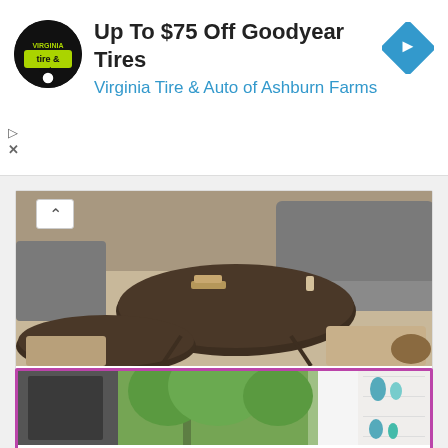[Figure (other): Advertisement banner for Virginia Tire & Auto with logo, headline 'Up To $75 Off Goodyear Tires', and navigation arrow icon]
Up To $75 Off Goodyear Tires
Virginia Tire & Auto of Ashburn Farms
[Figure (photo): Interior living room photo showing round dark wood nesting coffee tables on a beige rug with a gray sofa in the background]
Decorating Living Room With Brown Couch
[Figure (photo): Interior living room photo showing a modern room with floor lamp, large windows overlooking trees, white curtains, and shelving unit with teal decorative vases, with a magenta/purple border overlay]